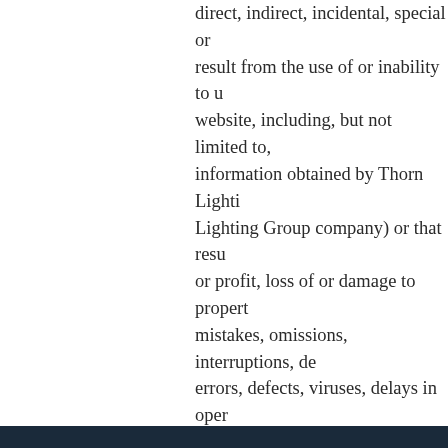direct, indirect, incidental, special or result from the use of or inability to u website, including, but not limited to, information obtained by Thorn Lighti Lighting Group company) or that resu or profit, loss of or damage to propert mistakes, omissions, interruptions, de errors, defects, viruses, delays in oper failure of performance, whether or no communications failure, theft, destru to Thorn Lighting's records, programs Thorn Lighting website hereby ackno shall apply to all content, merchandis through Thorn Lighting or any other T company.